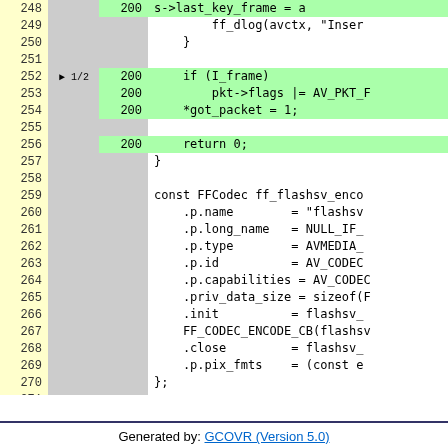[Figure (screenshot): Code coverage view showing lines 248-271 of a C source file with line numbers, branch indicators, hit counts, and source code. Lines 248, 252-254, 256 are highlighted green (hit). A breakpoint marker '1/2' appears at line 252. The code shows an FFmpeg flashsv encoder codec registration struct.]
Generated by: GCOVR (Version 5.0)